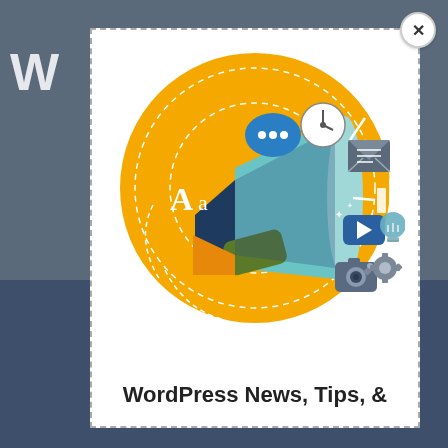[Figure (illustration): Illustration of a megaphone/bullhorn with digital marketing icons (chat bubble, clock, envelope, bar chart, video play button, lightbulb, camera, gear, typography Aa) radiating outward on a yellow circle background]
WordPress News, Tips, &